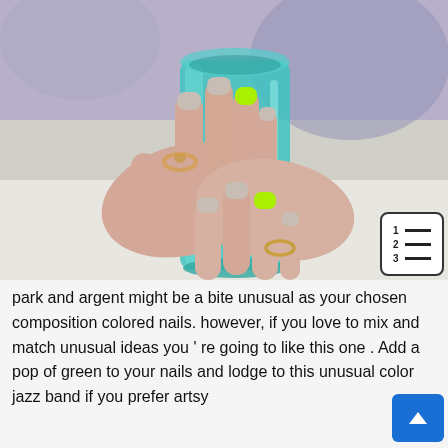[Figure (photo): Close-up photo of two hands holding a blue glass tumbler. The nails are mostly a light beige/taupe color with one accent nail on each hand painted bright neon green/lime. The person is wearing gold rings.]
park and argent might be a bite unusual as your chosen composition colored nails. however, if you love to mix and match unusual ideas you ' re going to like this one . Add a pop of green to your nails and lodge to this unusual color jazz band if you prefer artsy